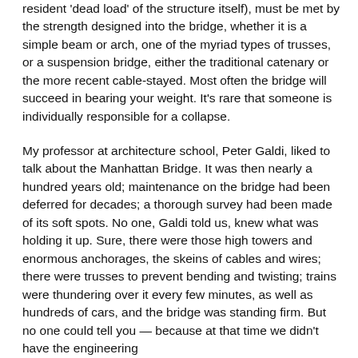resident 'dead load' of the structure itself), must be met by the strength designed into the bridge, whether it is a simple beam or arch, one of the myriad types of trusses, or a suspension bridge, either the traditional catenary or the more recent cable-stayed. Most often the bridge will succeed in bearing your weight. It's rare that someone is individually responsible for a collapse.
My professor at architecture school, Peter Galdi, liked to talk about the Manhattan Bridge. It was then nearly a hundred years old; maintenance on the bridge had been deferred for decades; a thorough survey had been made of its soft spots. No one, Galdi told us, knew what was holding it up. Sure, there were those high towers and enormous anchorages, the skeins of cables and wires; there were trusses to prevent bending and twisting; trains were thundering over it every few minutes, as well as hundreds of cars, and the bridge was standing firm. But no one could tell you — because at that time we didn't have the engineering